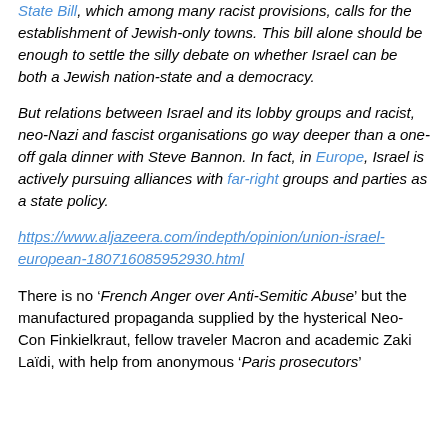State Bill, which among many racist provisions, calls for the establishment of Jewish-only towns. This bill alone should be enough to settle the silly debate on whether Israel can be both a Jewish nation-state and a democracy.
But relations between Israel and its lobby groups and racist, neo-Nazi and fascist organisations go way deeper than a one-off gala dinner with Steve Bannon. In fact, in Europe, Israel is actively pursuing alliances with far-right groups and parties as a state policy.
https://www.aljazeera.com/indepth/opinion/union-israel-european-180716085952930.html
There is no ‘French Anger over Anti-Semitic Abuse’ but the manufactured propaganda supplied by the hysterical Neo-Con Finkielkraut, fellow traveler Macron and academic Zaki Laïdi, with help from anonymous ‘Paris prosecutors’